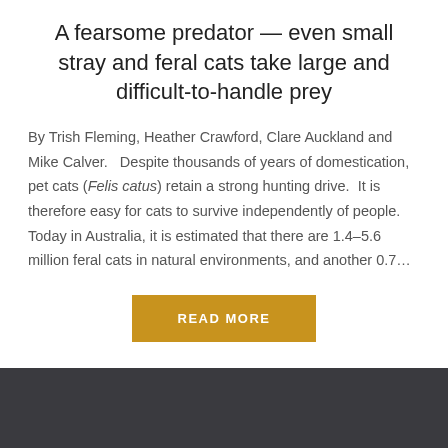A fearsome predator — even small stray and feral cats take large and difficult-to-handle prey
By Trish Fleming, Heather Crawford, Clare Auckland and Mike Calver.   Despite thousands of years of domestication, pet cats (Felis catus) retain a strong hunting drive.  It is therefore easy for cats to survive independently of people.  Today in Australia, it is estimated that there are 1.4–5.6 million feral cats in natural environments, and another 0.7…
READ MORE